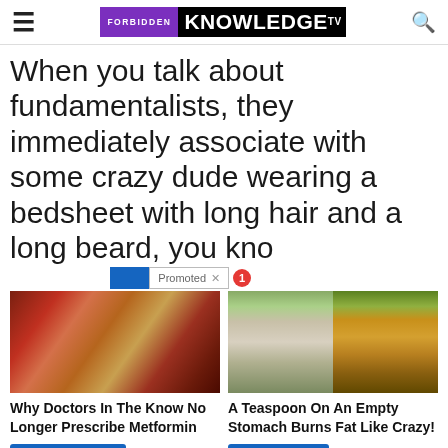FORBIDDEN KNOWLEDGE TV
When you talk about fundamentalists, they immediately associate with some crazy dude wearing a bedsheet with long hair and a long beard, you kno
Promoted X
[Figure (photo): Advertisement image showing intestinal tissue close-up]
Why Doctors In The Know No Longer Prescribe Metformin
Watch The Video
[Figure (photo): Advertisement split image showing a fit woman and turmeric powder]
A Teaspoon On An Empty Stomach Burns Fat Like Crazy!
Find Out More